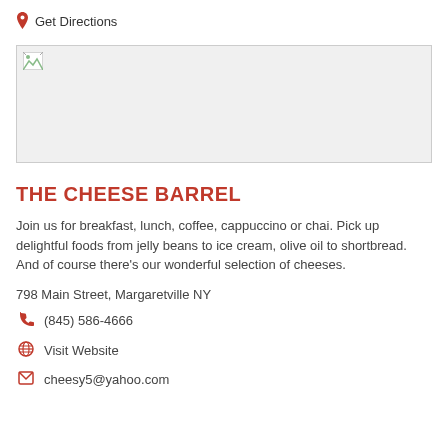Get Directions
[Figure (photo): Broken/placeholder image for The Cheese Barrel]
THE CHEESE BARREL
Join us for breakfast, lunch, coffee, cappuccino or chai. Pick up delightful foods from jelly beans to ice cream, olive oil to shortbread. And of course there's our wonderful selection of cheeses.
798 Main Street, Margaretville NY
(845) 586-4666
Visit Website
cheesy5@yahoo.com